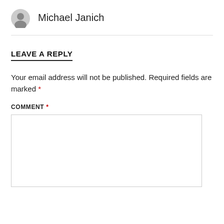Michael Janich
LEAVE A REPLY
Your email address will not be published. Required fields are marked *
COMMENT *